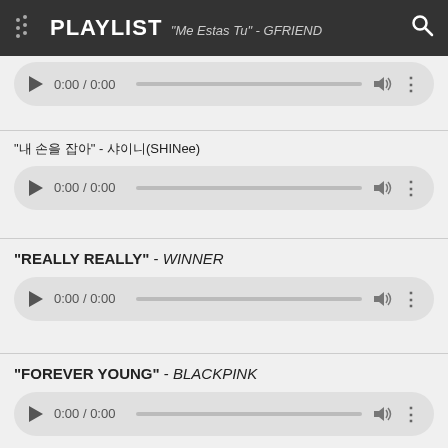PLAYLIST — "Me Estas Tu" - GFRIEND
"내 손을 잡아" - 샤이니(SHINee)
[Figure (screenshot): Audio player widget showing 0:00 / 0:00 with play button, progress bar, volume and more icons]
"REALLY REALLY" - WINNER
[Figure (screenshot): Audio player widget showing 0:00 / 0:00 with play button, progress bar, volume and more icons]
"FOREVER YOUNG" - BLACKPINK
[Figure (screenshot): Audio player widget showing 0:00 / 0:00 with play button, progress bar, volume and more icons]